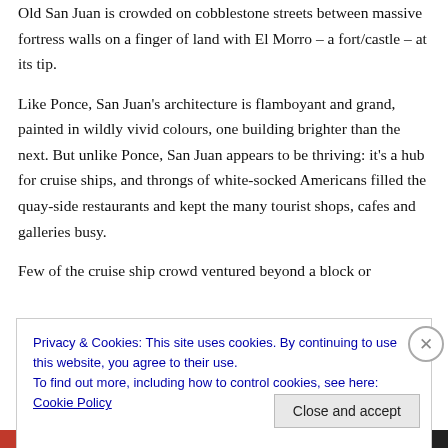Old San Juan is crowded on cobblestone streets between massive fortress walls on a finger of land with El Morro – a fort/castle – at its tip.
Like Ponce, San Juan's architecture is flamboyant and grand, painted in wildly vivid colours, one building brighter than the next. But unlike Ponce, San Juan appears to be thriving: it's a hub for cruise ships, and throngs of white-socked Americans filled the quay-side restaurants and kept the many tourist shops, cafes and galleries busy.
Few of the cruise ship crowd ventured beyond a block or
Privacy & Cookies: This site uses cookies. By continuing to use this website, you agree to their use.
To find out more, including how to control cookies, see here: Cookie Policy
Close and accept